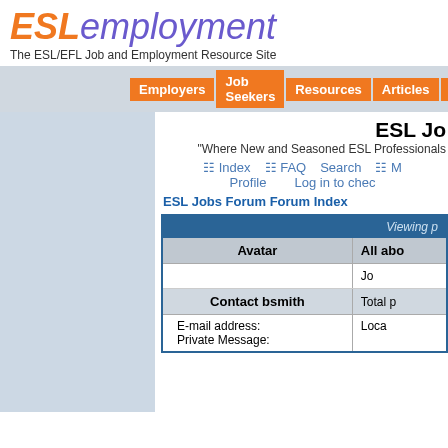ESLemployment
The ESL/EFL Job and Employment Resource Site
Employers | Job Seekers | Resources | Articles | Educa...
ESL Jo...
"Where New and Seasoned ESL Professionals...
Index  FAQ  Search  M...  Profile  Log in to chec...
ESL Jobs Forum Forum Index
| Avatar | All abo... | Viewing p... |
| --- | --- | --- |
|  | Jo... |
| Contact bsmith | Total p... |
| E-mail address:
Private Message: | Loca... |